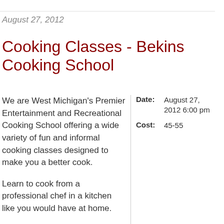August 27, 2012
Cooking Classes - Bekins Cooking School
We are West Michigan's Premier Entertainment and Recreational Cooking School offering a wide variety of fun and informal cooking classes designed to make you a better cook.
|  |  |
| --- | --- |
| Date: | August 27, 2012 6:00 pm |
| Cost: | 45-55 |
Learn to cook from a professional chef in a kitchen like you would have at home.
Visit our website for more detailed class information and registration.